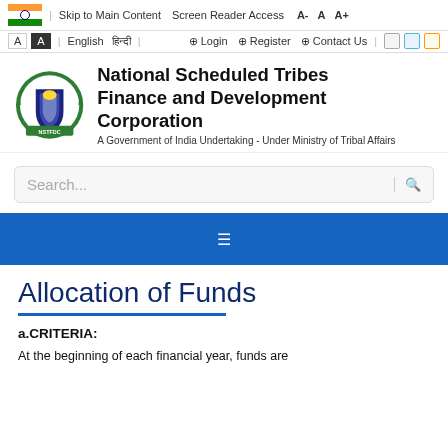Skip to Main Content  Screen Reader Access  A-  A  A+  |  English  हिन्दी  |  Login  Register  Contact Us
[Figure (logo): NSTFDC emblem/seal logo with green wreath and shield]
National Scheduled Tribes Finance and Development Corporation
A Government of India Undertaking - Under Ministry of Tribal Affairs
Search...
Allocation of Funds
a.CRITERIA:
At the beginning of each financial year, funds are